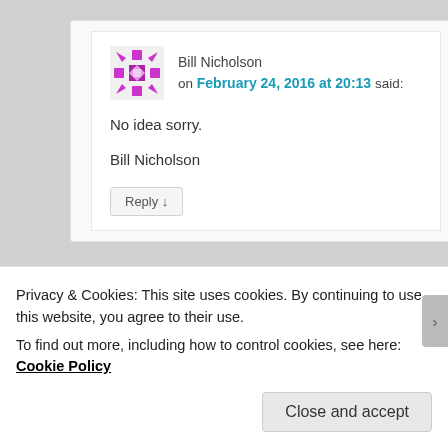Bill Nicholson on February 24, 2016 at 20:13 said:
No idea sorry.

Bill Nicholson
Reply ↓
[Figure (other): Partial magenta/pink decorative avatar icon for a second commenter]
Privacy & Cookies: This site uses cookies. By continuing to use this website, you agree to their use.
To find out more, including how to control cookies, see here: Cookie Policy
Close and accept